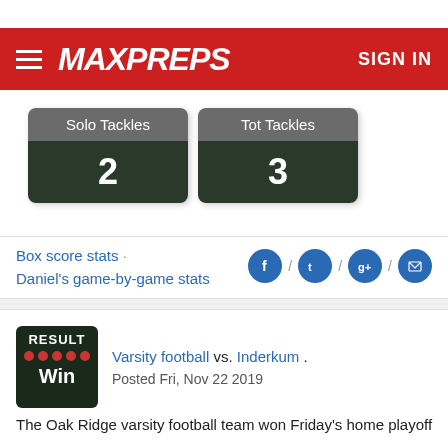MaxPreps — SIGN IN
| Solo Tackles | Tot Tackles |
| --- | --- |
| 2 | 3 |
Box score stats · Daniel's game-by-game stats
RESULT Win — Varsity football vs. Inderkum. Posted Fri, Nov 22 2019
The Oak Ridge varsity football team won Friday's home playoff game against Inderkum (Sacramento, CA) by a score of 56-21.
This game is part of the "2019 CIF Sac-Joaquin Section Football